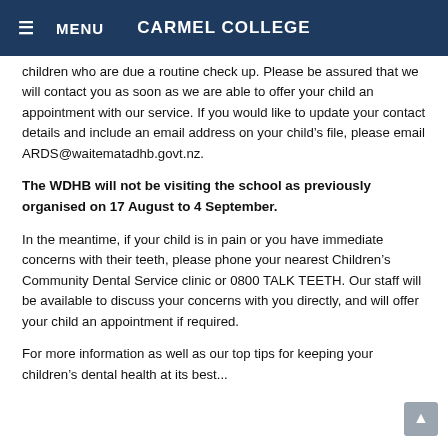≡ MENU   CARMEL COLLEGE
children who are due a routine check up. Please be assured that we will contact you as soon as we are able to offer your child an appointment with our service. If you would like to update your contact details and include an email address on your child's file, please email ARDS@waitematadhb.govt.nz.
The WDHB will not be visiting the school as previously organised on 17 August to 4 September.
In the meantime, if your child is in pain or you have immediate concerns with their teeth, please phone your nearest Children's Community Dental Service clinic or 0800 TALK TEETH. Our staff will be available to discuss your concerns with you directly, and will offer your child an appointment if required.
For more information as well as our top tips for keeping your children's dental health at its best...